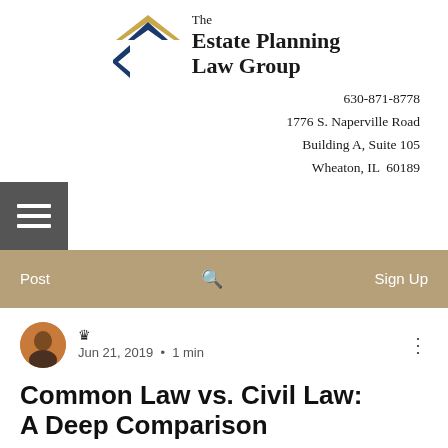[Figure (logo): The Estate Planning Law Group logo with geometric house/arrow shapes in navy blue and gold]
630-871-8778
1776 S. Naperville Road
Building A, Suite 105
Wheaton, IL  60189
[Figure (other): Hamburger menu button (three horizontal white lines on dark grey background)]
[Figure (other): Navigation bar with tan/khaki background containing: Post, search icon, Sign Up]
[Figure (photo): Circular avatar photo of a person]
Jun 21, 2019  •  1 min
Common Law vs. Civil Law: A Deep Comparison